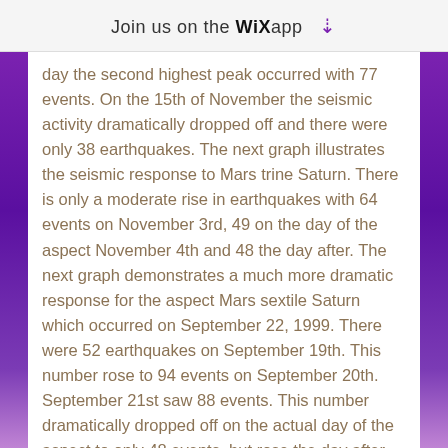Join us on the WiX app ↓
day the second highest peak occurred with 77 events. On the 15th of November the seismic activity dramatically dropped off and there were only 38 earthquakes. The next graph illustrates the seismic response to Mars trine Saturn. There is only a moderate rise in earthquakes with 64 events on November 3rd, 49 on the day of the aspect November 4th and 48 the day after. The next graph demonstrates a much more dramatic response for the aspect Mars sextile Saturn which occurred on September 22, 1999. There were 52 earthquakes on September 19th. This number rose to 94 events on September 20th. September 21st saw 88 events. This number dramatically dropped off on the actual day of the aspect to only 48 events, but rose the day after the aspect to 68. The most stunning response illustrating the relationship between planetary aspects and